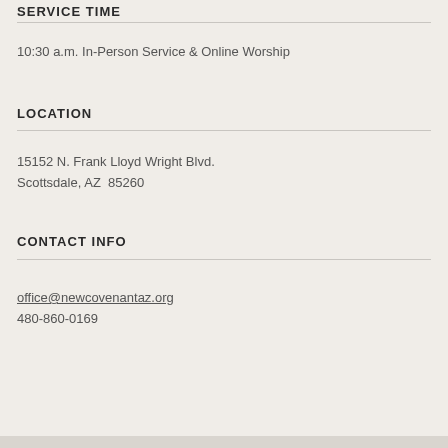SERVICE TIME
10:30 a.m. In-Person Service & Online Worship
LOCATION
15152 N. Frank Lloyd Wright Blvd.
Scottsdale, AZ  85260
CONTACT INFO
office@newcovenantaz.org
480-860-0169